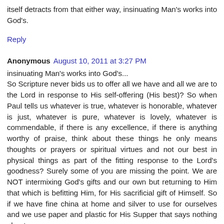itself detracts from that either way, insinuating Man's works into God's.
Reply
Anonymous  August 10, 2011 at 3:27 PM
insinuating Man's works into God's...
So Scripture never bids us to offer all we have and all we are to the Lord in response to His self-offering (His best)? So when Paul tells us whatever is true, whatever is honorable, whatever is just, whatever is pure, whatever is lovely, whatever is commendable, if there is any excellence, if there is anything worthy of praise, think about these things he only means thoughts or prayers or spiritual virtues and not our best in physical things as part of the fitting response to the Lord's goodness? Surely some of you are missing the point. We are NOT intermixing God's gifts and our own but returning to Him that which is befitting Him, for His sacrificial gift of Himself. So if we have fine china at home and silver to use for ourselves and we use paper and plastic for His Supper that says nothing about